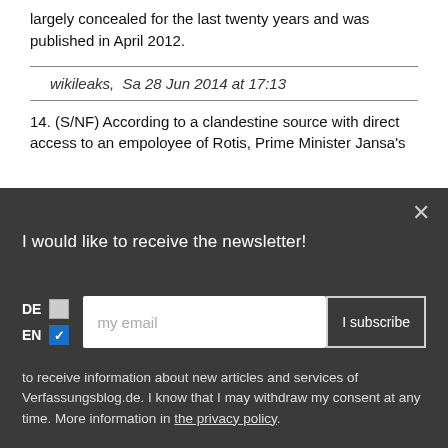largely concealed for the last twenty years and was published in April 2012.
wikileaks,  Sa 28 Jun 2014 at 17:13
14. (S/NF) According to a clandestine source with direct access to an empoloyee of Rotis, Prime Minister Jansa's
I would like to receive the newsletter!
to receive information about new articles and services of Verfassungsblog.de. I know that I may withdraw my consent at any time. More information in the privacy policy.